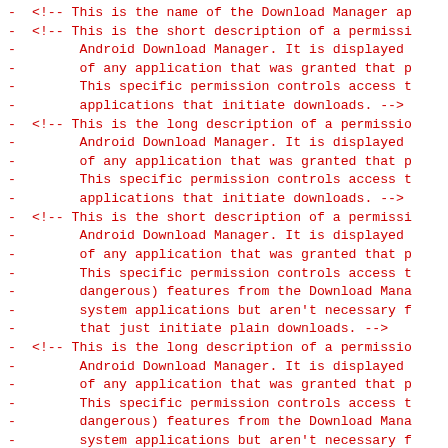- <!-- This is the name of the Download Manager ap
- <!-- This is the short description of a permissi
-      Android Download Manager. It is displayed
-      of any application that was granted that p
-      This specific permission controls access t
-      applications that initiate downloads. -->
- <!-- This is the long description of a permissio
-      Android Download Manager. It is displayed
-      of any application that was granted that p
-      This specific permission controls access t
-      applications that initiate downloads. -->
- <!-- This is the short description of a permissi
-      Android Download Manager. It is displayed
-      of any application that was granted that p
-      This specific permission controls access t
-      dangerous) features from the Download Mana
-      system applications but aren't necessary f
-      that just initiate plain downloads. -->
- <!-- This is the long description of a permissio
-      Android Download Manager. It is displayed
-      of any application that was granted that p
-      This specific permission controls access t
-      dangerous) features from the Download Mana
-      system applications but aren't necessary f
-      that just initiate plain downloads. -->
- <!-- This is the long description of a permissio
-      Android Download Manager. It is displayed
-      of any application that was granted that p
-      This specific permission allows an applica
-      applications that their downloads have com